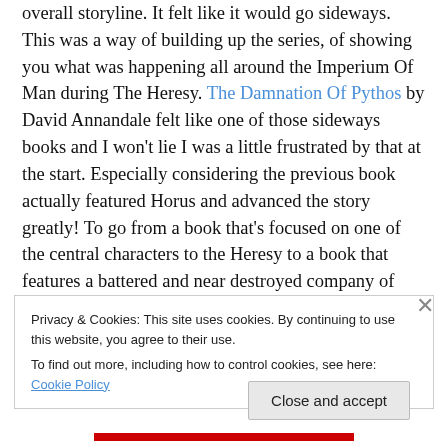overall storyline. It felt like it would go sideways. This was a way of building up the series, of showing you what was happening all around the Imperium Of Man during The Heresy. The Damnation Of Pythos by David Annandale felt like one of those sideways books and I won't lie I was a little frustrated by that at the start. Especially considering the previous book actually featured Horus and advanced the story greatly! To go from a book that's focused on one of the central characters to the Heresy to a book that features a battered and near destroyed company of Space Marines trying to pull themselves together after being
Privacy & Cookies: This site uses cookies. By continuing to use this website, you agree to their use.
To find out more, including how to control cookies, see here: Cookie Policy